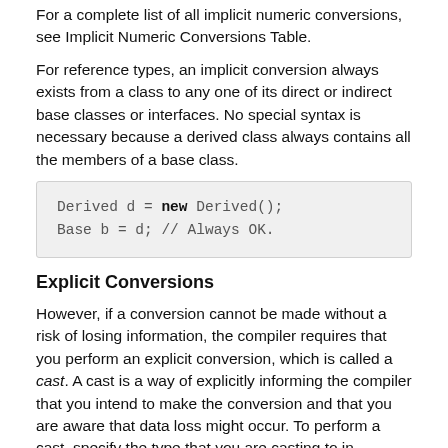For a complete list of all implicit numeric conversions, see Implicit Numeric Conversions Table.
For reference types, an implicit conversion always exists from a class to any one of its direct or indirect base classes or interfaces. No special syntax is necessary because a derived class always contains all the members of a base class.
Derived d = new Derived();
Base b = d; // Always OK.
Explicit Conversions
However, if a conversion cannot be made without a risk of losing information, the compiler requires that you perform an explicit conversion, which is called a cast. A cast is a way of explicitly informing the compiler that you intend to make the conversion and that you are aware that data loss might occur. To perform a cast, specify the type that you are casting to in parentheses in front of the value or variable to be converted.